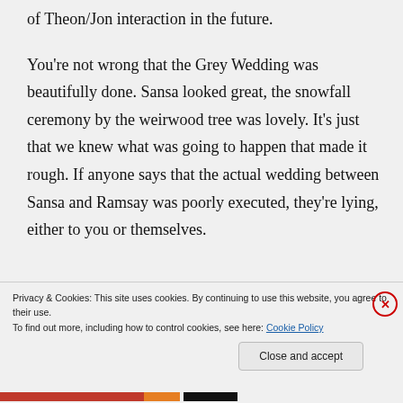of Theon/Jon interaction in the future.
You're not wrong that the Grey Wedding was beautifully done. Sansa looked great, the snowfall ceremony by the weirwood tree was lovely. It's just that we knew what was going to happen that made it rough. If anyone says that the actual wedding between Sansa and Ramsay was poorly executed, they're lying, either to you or themselves.
Privacy & Cookies: This site uses cookies. By continuing to use this website, you agree to their use. To find out more, including how to control cookies, see here: Cookie Policy
Close and accept